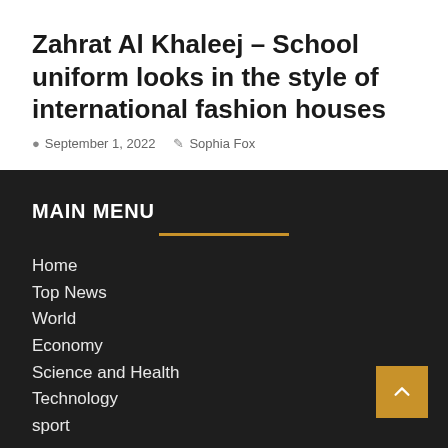Zahrat Al Khaleej – School uniform looks in the style of international fashion houses
September 1, 2022   Sophia Fox
MAIN MENU
Home
Top News
World
Economy
Science and Health
Technology
sport